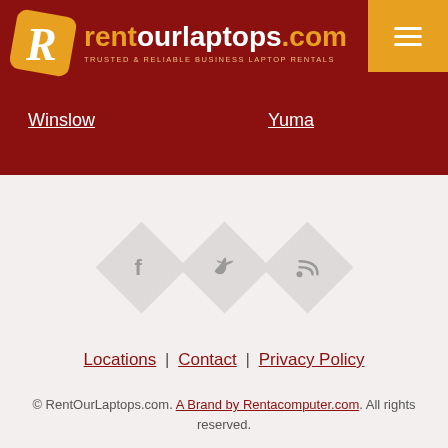[Figure (logo): rentourlaptops.com logo with orange R icon and text. Tagline: TRUSTED & RELIABLE BUSINESS LAPTOP RENTALS]
Winslow
Yuma
[Figure (infographic): Three diamond-shaped social media icons: Facebook (f), Twitter (bird), RSS feed]
Locations | Contact | Privacy Policy
© RentOurLaptops.com. A Brand by Rentacomputer.com. All rights reserved.